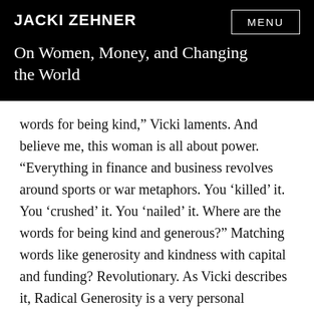JACKI ZEHNER
On Women, Money, and Changing the World
words for being kind,” Vicki laments. And believe me, this woman is all about power. “Everything in finance and business revolves around sports or war metaphors. You ‘killed’ it. You ‘crushed’ it. You ‘nailed’ it. Where are the words for being kind and generous?” Matching words like generosity and kindness with capital and funding? Revolutionary. As Vicki describes it, Radical Generosity is a very personal concept, and will manifest differently for every person. The scale of it doesn’t matter. It’s about starting